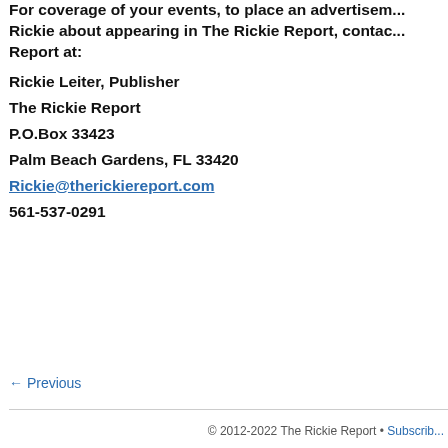For coverage of your events, to place an advertisement, or to talk to Rickie about appearing in The Rickie Report, contact The Rickie Report at:
Rickie Leiter, Publisher
The Rickie Report
P.O.Box 33423
Palm Beach Gardens, FL 33420
Rickie@therickiereport.com
561-537-0291
← Previous
© 2012-2022 The Rickie Report • Subscribe